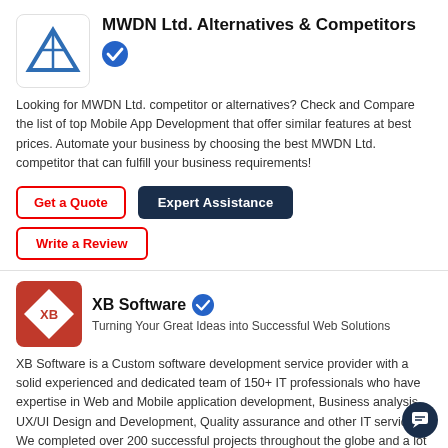MWDN Ltd. Alternatives & Competitors
Looking for MWDN Ltd. competitor or alternatives? Check and Compare the list of top Mobile App Development that offer similar features at best prices. Automate your business by choosing the best MWDN Ltd. competitor that can fulfill your business requirements!
Get a Quote
Expert Assistance
Write a Review
XB Software
Turning Your Great Ideas into Successful Web Solutions
XB Software is a Custom software development service provider with a solid experienced and dedicated team of 150+ IT professionals who have expertise in Web and Mobile application development, Business analysis, UX/UI Design and Development, Quality assurance and other IT services. We completed over 200 successful projects throughout the globe and a lot of satisfied clients in Canada, UK and USA. View Profile
Get a Quote
Expert Assistance